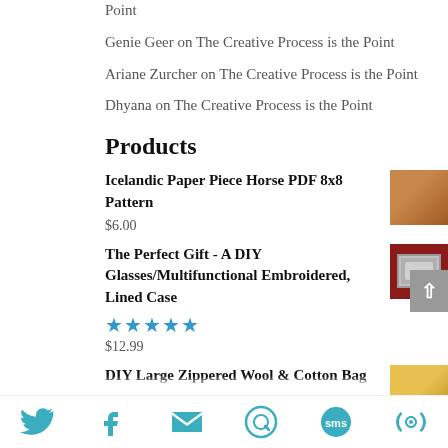Point
Genie Geer on The Creative Process is the Point
Ariane Zurcher on The Creative Process is the Point
Dhyana on The Creative Process is the Point
Products
Icelandic Paper Piece Horse PDF 8x8 Pattern
$6.00
The Perfect Gift - A DIY Glasses/Multifunctional Embroidered, Lined Case
★★★★★
$12.99
DIY Large Zippered Wool & Cotton Bag